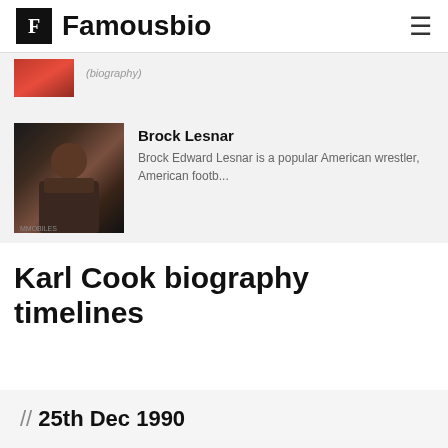Famousbio
[Figure (photo): Partial view of a person photo with red/orange tones, cropped at top]
[Figure (photo): Photo of Brock Lesnar, a muscular wrestler in fighting stance]
Brock Lesnar
Brock Edward Lesnar is a popular American wrestler, American footb...
Karl Cook biography timelines
// 25th Dec 1990